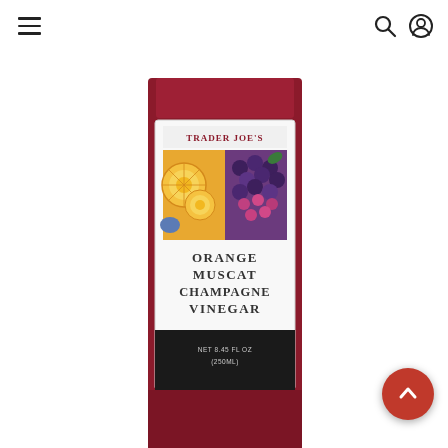Navigation bar with hamburger menu, search icon, and user account icon
[Figure (photo): Trader Joe's Orange Muscat Champagne Vinegar bottle product photo. The bottle has a dark red/maroon color with a white label showing 'TRADER JOE'S' at the top, a fruit collage image featuring orange slices and grapes, and bold text reading 'ORANGE MUSCAT CHAMPAGNE VINEGAR'. The bottom of the label shows 'NET 8.45 FL OZ (250ML)'. The bottle is cropped and shown from front.]